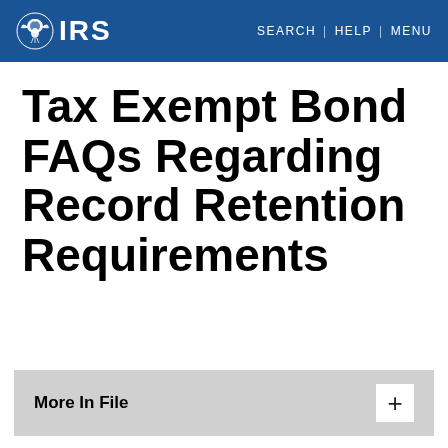IRS | SEARCH | HELP | MENU
Tax Exempt Bond FAQs Regarding Record Retention Requirements
More In File +